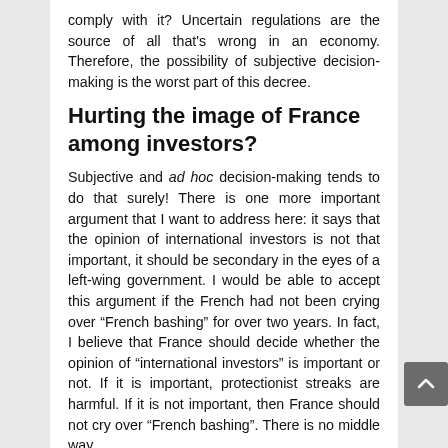comply with it? Uncertain regulations are the source of all that's wrong in an economy. Therefore, the possibility of subjective decision-making is the worst part of this decree.
Hurting the image of France among investors?
Subjective and ad hoc decision-making tends to do that surely! There is one more important argument that I want to address here: it says that the opinion of international investors is not that important, it should be secondary in the eyes of a left-wing government. I would be able to accept this argument if the French had not been crying over “French bashing” for over two years. In fact, I believe that France should decide whether the opinion of “international investors” is important or not. If it is important, protectionist streaks are harmful. If it is not important, then France should not cry over “French bashing”. There is no middle way.